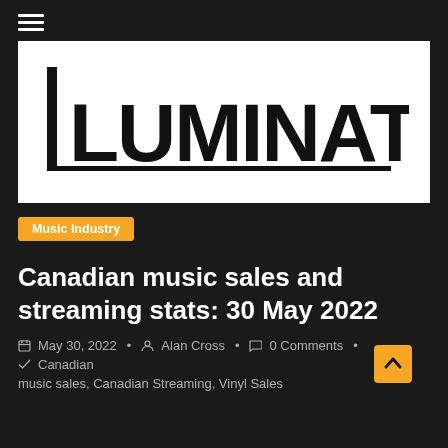≡
[Figure (logo): Luminate logo — bold black text 'LUMINATE' with a vertical bar on the left and horizontal line beneath, on white background]
Music Industry
Canadian music sales and streaming stats: 30 May 2022
May 30, 2022  Alan Cross  0 Comments  Canadian music sales, Canadian Streaming, Vinyl Sales